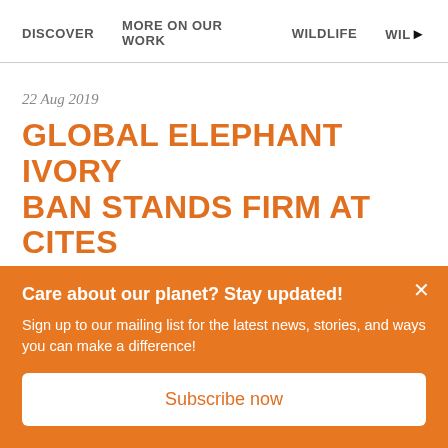DISCOVER   MORE ON OUR WORK   WILDLIFE   WIL▶
22 Aug 2019
GLOBAL ELEPHANT IVORY BAN STANDS FIRM AT CITES
Care about our planet? Stay updated!
Sign up to our mailing list for the latest news, stories, and ways you can make a difference!
Subscribe now